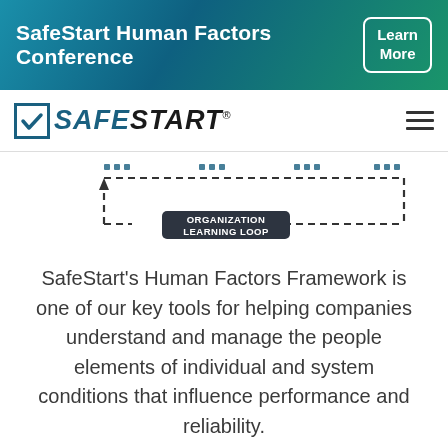SafeStart Human Factors Conference — Learn More
[Figure (logo): SafeStart logo with checkbox and checkmark icon, company name in bold italic]
[Figure (schematic): Organization Learning Loop diagram showing a dashed-border rectangle with an upward arrow on the left side and a label 'ORGANIZATION LEARNING LOOP' in the center bottom]
SafeStart's Human Factors Framework is one of our key tools for helping companies understand and manage the people elements of individual and system conditions that influence performance and reliability.